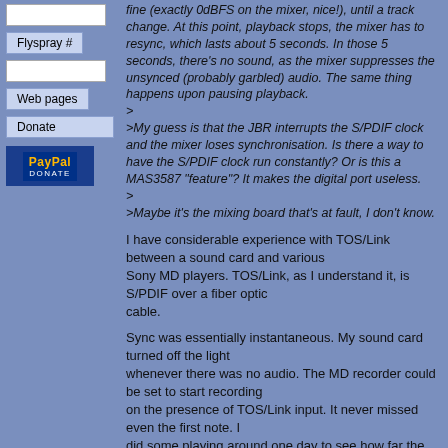Flyspray #
Web pages
Donate
[Figure (logo): PayPal Donate button]
fine (exactly 0dBFS on the mixer, nice!), until a track change. At this point, playback stops, the mixer has to resync, which lasts about 5 seconds. In those 5 seconds, there's no sound, as the mixer suppresses the unsynced (probably garbled) audio. The same thing happens upon pausing playback.
>
>My guess is that the JBR interrupts the S/PDIF clock and the mixer loses synchronisation. Is there a way to have the S/PDIF clock run constantly? Or is this a MAS3587 "feature"? It makes the digital port useless.
>
>Maybe it's the mixing board that's at fault, I don't know.
I have considerable experience with TOS/Link between a sound card and various Sony MD players. TOS/Link, as I understand it, is S/PDIF over a fiber optic cable.
Sync was essentially instantaneous. My sound card turned off the light whenever there was no audio. The MD recorder could be set to start recording on the presence of TOS/Link input. It never missed even the first note. I did some playing around one day to see how far the light beam would reach from the end of the fiber. I could get it an inch away from the